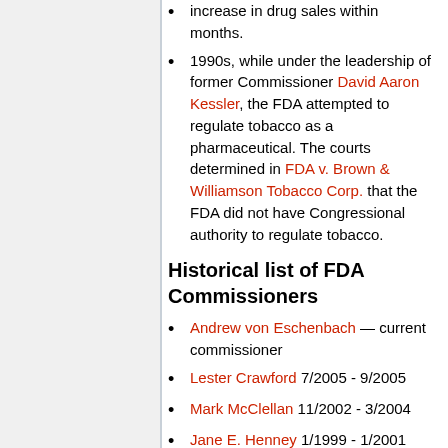1990s, while under the leadership of former Commissioner David Aaron Kessler, the FDA attempted to regulate tobacco as a pharmaceutical. The courts determined in FDA v. Brown & Williamson Tobacco Corp. that the FDA did not have Congressional authority to regulate tobacco.
Historical list of FDA Commissioners
Andrew von Eschenbach — current commissioner
Lester Crawford 7/2005 - 9/2005
Mark McClellan 11/2002 - 3/2004
Jane E. Henney 1/1999 - 1/2001
David Aaron Kessler 11/1990 -